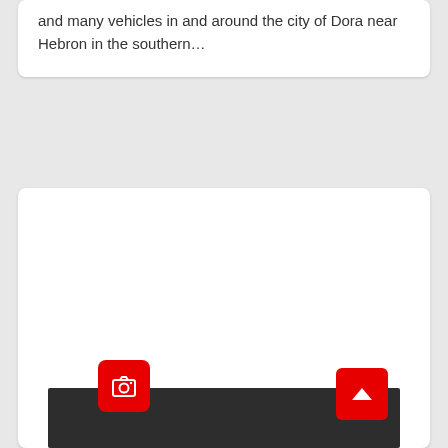and many vehicles in and around the city of Dora near Hebron in the southern…
[Figure (photo): Dark/black image area with a red camera button in the lower left and a red scroll-to-top button in the lower right]